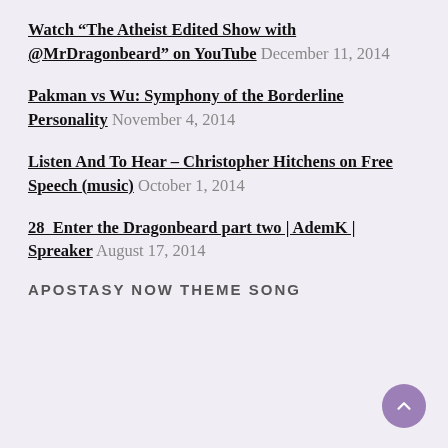Watch “The Atheist Edited Show with @MrDragonbeard” on YouTube December 11, 2014
Pakman vs Wu: Symphony of the Borderline Personality November 4, 2014
Listen And To Hear – Christopher Hitchens on Free Speech (music) October 1, 2014
28  Enter the Dragonbeard part two | AdemK | Spreaker August 17, 2014
APOSTASY NOW THEME SONG